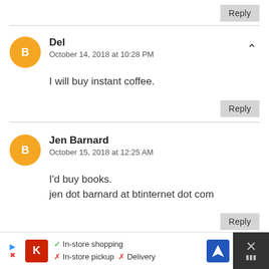Reply
Del
October 14, 2018 at 10:28 PM
I will buy instant coffee.
Reply
Jen Barnard
October 15, 2018 at 12:25 AM
I'd buy books.
jen dot barnard at btinternet dot com
Reply
[Figure (infographic): Advertisement bar at bottom: In-store shopping checkmark, In-store pickup X, Delivery X, with Kroger logo and navigation icon]